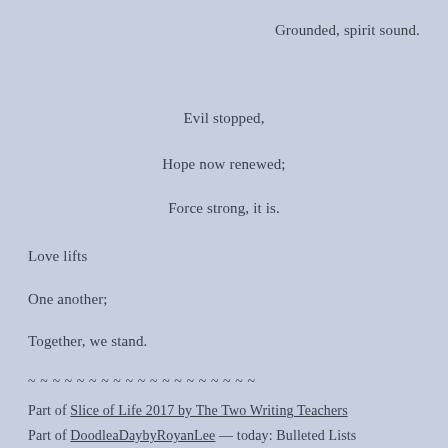Grounded, spirit sound.
Evil stopped,
Hope now renewed;
Force strong, it is.
Love lifts
One another;
Together, we stand.
~ ~ ~ ~ ~ ~ ~ ~ ~ ~ ~ ~ ~ ~ ~ ~ ~ ~ ~
Part of Slice of Life 2017 by The Two Writing Teachers
Part of DoodleaDaybyRoyanLee — today: Bulleted Lists